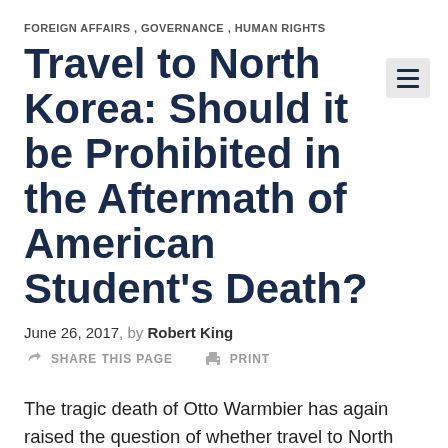FOREIGN AFFAIRS , GOVERNANCE , HUMAN RIGHTS
Travel to North Korea: Should it be Prohibited in the Aftermath of American Student's Death?
June 26, 2017, by Robert King
SHARE THIS PAGE   PRINT
The tragic death of Otto Warmbier has again raised the question of whether travel to North Korea ought to be prohibited by the United States government.